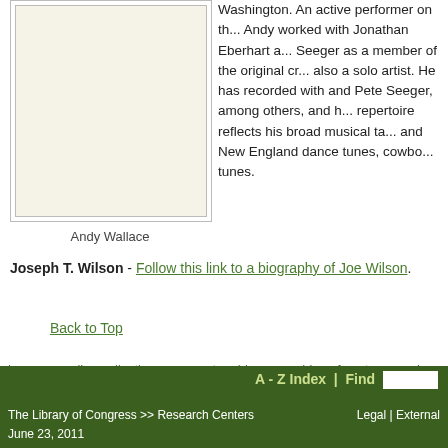[Figure (photo): Portrait photo placeholder box for Andy Wallace, beige/cream background, bordered]
Andy Wallace
Washington. An active performer on th... Andy worked with Jonathan Eberhart a... Seeger as a member of the original cr... also a solo artist. He has recorded with and Pete Seeger, among others, and h... repertoire reflects his broad musical ta... and New England dance tunes, cowbo... tunes.
Joseph T. Wilson - Follow this link to a biography of Joe Wilson.
Back to Top
home >> online collections >> event archive >> archive of past symposia >>
A - Z Index | Find   The Library of Congress >> Research Centers   June 23, 2011   Legal | External